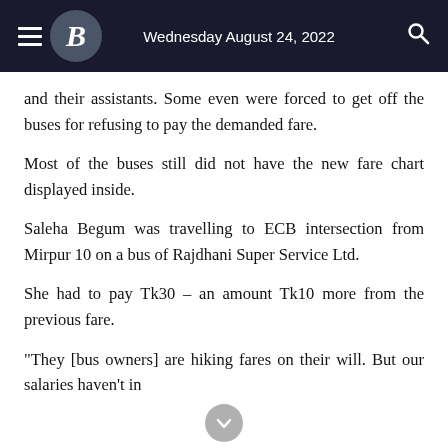Wednesday August 24, 2022
and their assistants. Some even were forced to get off the buses for refusing to pay the demanded fare.
Most of the buses still did not have the new fare chart displayed inside.
Saleha Begum was travelling to ECB intersection from Mirpur 10 on a bus of Rajdhani Super Service Ltd.
She had to pay Tk30 – an amount Tk10 more from the previous fare.
"They [bus owners] are hiking fares on their will. But our salaries haven't in…